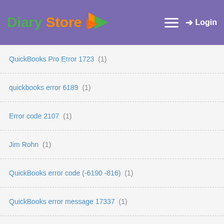Diary Store
QuickBooks Pro Error 1723 (1)
quickbooks error 6189 (1)
Error code 2107 (1)
Jim Rohn (1)
QuickBooks error code (-6190 -816) (1)
QuickBooks error message 17337 (1)
#quickbooks not withholding taxes (1)
Ilets Score for new zealand visa (1)
QuickBooks error code 6000 77 (1)
Shannon L. Alder (1)
QuickBooks Self Employed Error 324 (1)
Received an error code PS077 (1)
Outlook is not Responding QuickBooks 2019 (2)